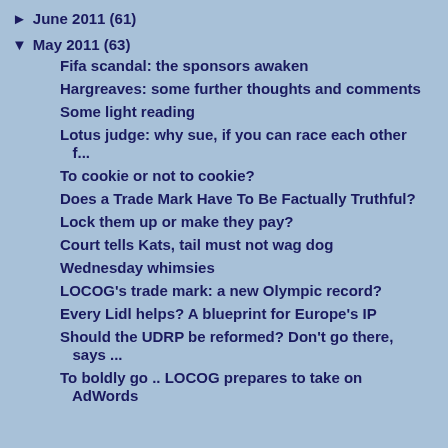► June 2011 (61)
▼ May 2011 (63)
Fifa scandal: the sponsors awaken
Hargreaves: some further thoughts and comments
Some light reading
Lotus judge: why sue, if you can race each other f...
To cookie or not to cookie?
Does a Trade Mark Have To Be Factually Truthful?
Lock them up or make they pay?
Court tells Kats, tail must not wag dog
Wednesday whimsies
LOCOG's trade mark: a new Olympic record?
Every Lidl helps? A blueprint for Europe's IP
Should the UDRP be reformed? Don't go there, says ...
To boldly go .. LOCOG prepares to take on AdWords